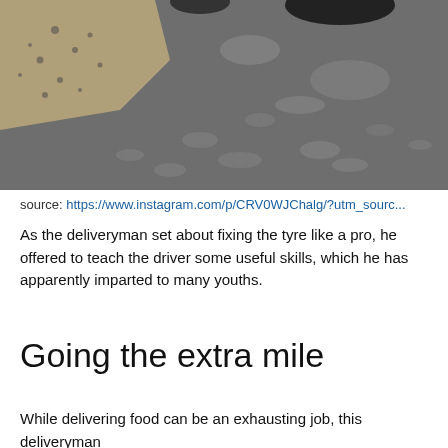[Figure (photo): A close-up photo of a rough textured asphalt/ground surface, with a sandy or crumbly material visible in the upper-left corner. Dark objects partially visible at the top of the frame.]
source: https://www.instagram.com/p/CRV0WJChalg/?utm_sourc...
As the deliveryman set about fixing the tyre like a pro, he offered to teach the driver some useful skills, which he has apparently imparted to many youths.
Going the extra mile
While delivering food can be an exhausting job, this deliveryman